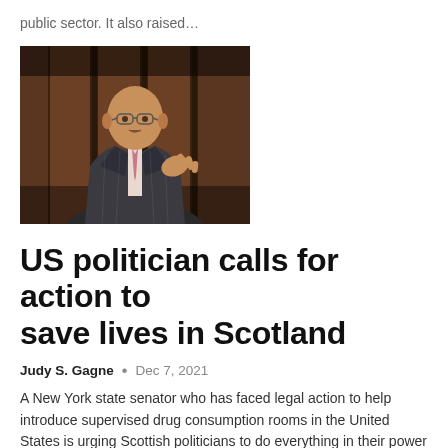public sector. It also raised…
[Figure (photo): A bald man wearing glasses and a grey pinstripe suit with a pink tie, gesturing while speaking, with ornate wood panelling in the background.]
US politician calls for action to save lives in Scotland
Judy S. Gagne  •  Dec 7, 2021
A New York state senator who has faced legal action to help introduce supervised drug consumption rooms in the United States is urging Scottish politicians to do everything in their power to save lives. As the representative of the central…